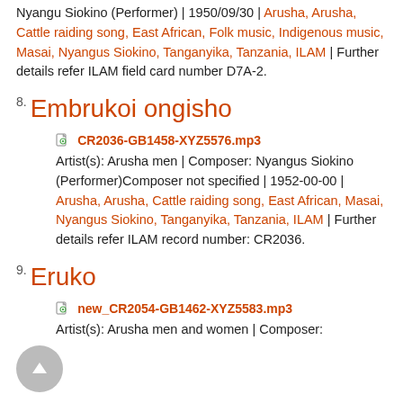Nyangu Siokino (Performer) | 1950/09/30 | Arusha, Arusha, Cattle raiding song, East African, Folk music, Indigenous music, Masai, Nyangus Siokino, Tanganyika, Tanzania, ILAM | Further details refer ILAM field card number D7A-2.
8. Embrukoi ongisho
CR2036-GB1458-XYZ5576.mp3 Artist(s): Arusha men | Composer: Nyangus Siokino (Performer)Composer not specified | 1952-00-00 | Arusha, Arusha, Cattle raiding song, East African, Masai, Nyangus Siokino, Tanganyika, Tanzania, ILAM | Further details refer ILAM record number: CR2036.
9. Eruko
new_CR2054-GB1462-XYZ5583.mp3 Artist(s): Arusha men and women | Composer: